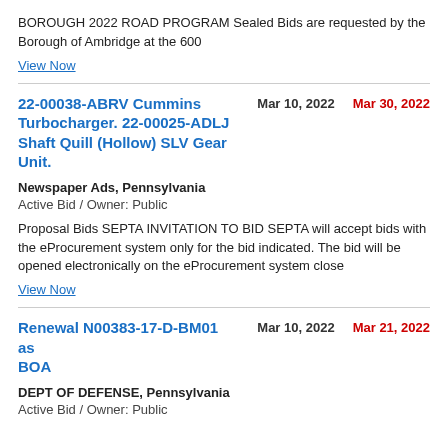BOROUGH 2022 ROAD PROGRAM Sealed Bids are requested by the Borough of Ambridge at the 600
View Now
22-00038-ABRV Cummins Turbocharger. 22-00025-ADLJ Shaft Quill (Hollow) SLV Gear Unit.
Mar 10, 2022
Mar 30, 2022
Newspaper Ads, Pennsylvania
Active Bid / Owner: Public
Proposal Bids SEPTA INVITATION TO BID SEPTA will accept bids with the eProcurement system only for the bid indicated. The bid will be opened electronically on the eProcurement system close
View Now
Renewal N00383-17-D-BM01 as BOA
Mar 10, 2022
Mar 21, 2022
DEPT OF DEFENSE, Pennsylvania
Active Bid / Owner: Public